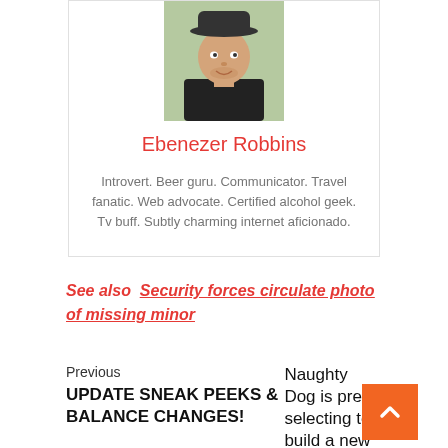[Figure (photo): Profile photo of a young man wearing a black hat, smiling, outdoors with a blurred background]
Ebenezer Robbins
Introvert. Beer guru. Communicator. Travel fanatic. Web advocate. Certified alcohol geek. Tv buff. Subtly charming internet aficionado.
See also  Security forces circulate photo of missing minor
Previous
UPDATE SNEAK PEEKS & BALANCE CHANGES!
Naughty Dog is pres selecting to build a new singleplayer recreation